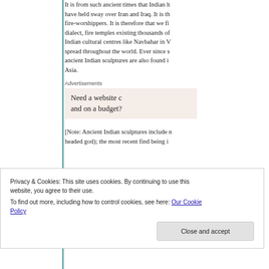It is from such ancient times that Indian [influence seems to] have held sway over Iran and Iraq. It is th[e land of the] fire-worshippers. It is therefore that we fi[nd an Indian] dialect, fire temples existing thousands of [years old,] Indian cultural centres like Navbahar in V[arious places] spread throughout the world. Ever since s[uch times,] ancient Indian sculptures are also found i[n Central] Asia.
Advertisements
Need a website c[reated quickly] and on a budget?
[Note: Ancient Indian sculptures include m[any of elephant-] headed god); the most recent find being i[n...
Privacy & Cookies: This site uses cookies. By continuing to use this website, you agree to their use.
To find out more, including how to control cookies, see here: Our Cookie Policy
Close and accept